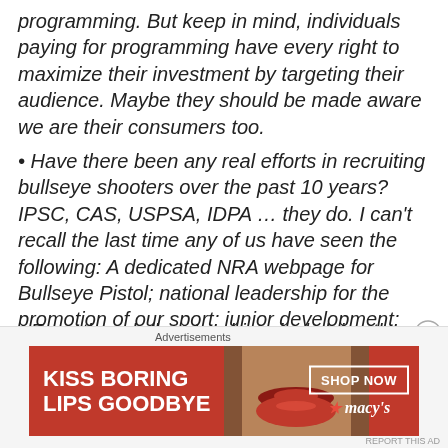programming. But keep in mind, individuals paying for programming have every right to maximize their investment by targeting their audience. Maybe they should be made aware we are their consumers too.
• Have there been any real efforts in recruiting bullseye shooters over the past 10 years? IPSC, CAS, USPSA, IDPA … they do. I can't recall the last time any of us have seen the following: A dedicated NRA webpage for Bullseye Pistol; national leadership for the promotion of our sport; junior development; and a mechanism to recruit women.
• Even though there's a historical claim, the simple truth is there's no functioning leadership for our sport. We've
[Figure (infographic): Macy's advertisement banner: KISS BORING LIPS GOODBYE with SHOP NOW button and Macy's star logo on red background]